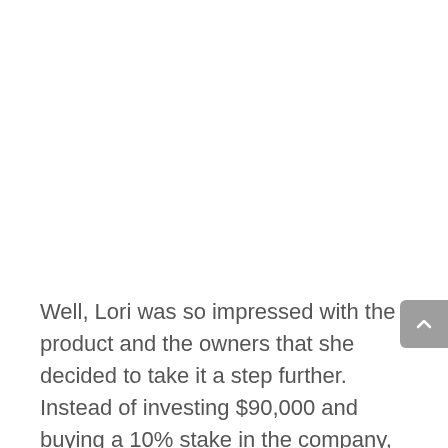Well, Lori was so impressed with the product and the owners that she decided to take it a step further. Instead of investing $90,000 and buying a 10% stake in the company,